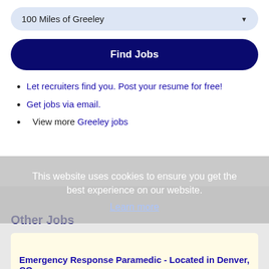100 Miles of Greeley
Find Jobs
Let recruiters find you. Post your resume for free!
Get jobs via email.
View more Greeley jobs
This website uses cookies to ensure you get the best experience on our website. Learn more
Other Jobs
Emergency Response Paramedic - Located in Denver, CO
Description: Located in Denver, COJob Description: Paramedic IMMEDIATELY HIRING PARAMEDIC FULL-TIME Opportunity 23.00